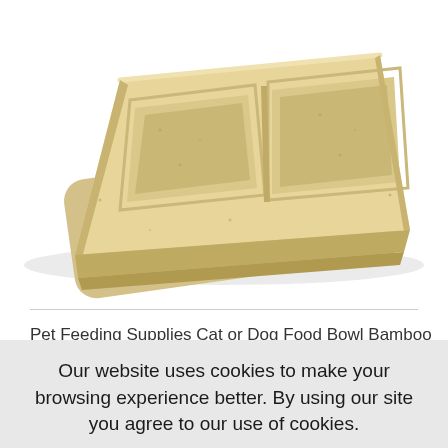[Figure (photo): A double-compartment pet feeding bowl made of bamboo material, light tan/cream color, with two square-ish wells side by side, viewed at a slight angle from above.]
Pet Feeding Supplies Cat or Dog Food Bowl Bamboo
Our website uses cookies to make your browsing experience better. By using our site you agree to our use of cookies.
Learn More
I Agree